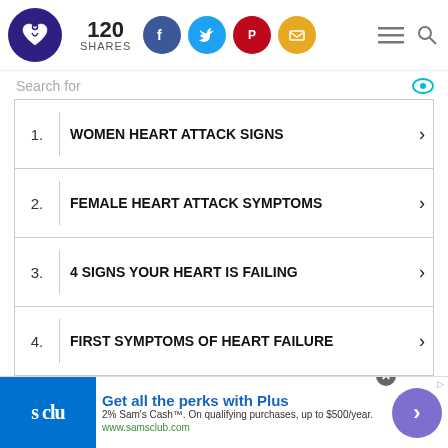[Figure (logo): Heart health website logo - dark blue circle with heart icon]
120 SHARES
[Figure (infographic): Social share buttons: Facebook (blue), Twitter (cyan), Pinterest (red), Email (yellow)]
[Figure (infographic): Hamburger menu and search icons]
Search for
1. WOMEN HEART ATTACK SIGNS
2. FEMALE HEART ATTACK SYMPTOMS
3. 4 SIGNS YOUR HEART IS FAILING
4. FIRST SYMPTOMS OF HEART FAILURE
5. SIGNS OF HEART PROBLEMS IN
6. SIGNS OF HEART BLOCKAGE
[Figure (infographic): Sam's Club advertisement: Get all the perks with Plus. 2% Sam's Cash. www.samsclub.com]